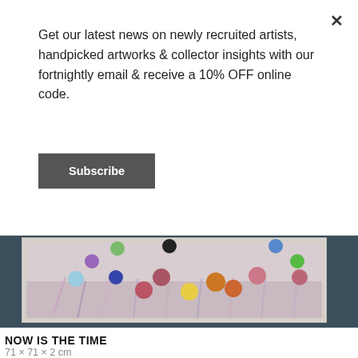Get our latest news on newly recruited artists, handpicked artworks & collector insights with our fortnightly email & receive a 10% OFF online code.
Subscribe
[Figure (photo): Abstract painting with colorful circles/dots arranged in an arc over a floral/botanical background, displayed in a white frame on a dark grey-blue wall.]
NOW IS THE TIME
71 × 71 × 2 cm
Primary Medium: